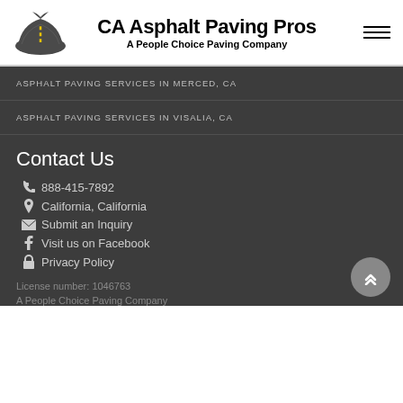CA Asphalt Paving Pros — A People Choice Paving Company
ASPHALT PAVING SERVICES IN MERCED, CA
ASPHALT PAVING SERVICES IN VISALIA, CA
Contact Us
888-415-7892
California, California
Submit an Inquiry
Visit us on Facebook
Privacy Policy
License number: 1046763
A People Choice Paving Company